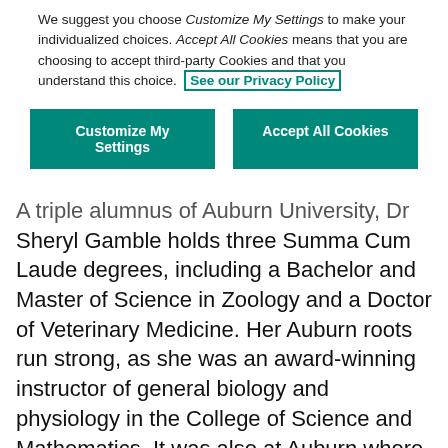We suggest you choose Customize My Settings to make your individualized choices. Accept All Cookies means that you are choosing to accept third-party Cookies and that you understand this choice. See our Privacy Policy
Customize My Settings | Accept All Cookies
A triple alumnus of Auburn University, Dr Sheryl Gamble holds three Summa Cum Laude degrees, including a Bachelor and Master of Science in Zoology and a Doctor of Veterinary Medicine. Her Auburn roots run strong, as she was an award-winning instructor of general biology and physiology in the College of Science and Mathematics. It was also at Auburn where she received the Clinical Achievement Award for Excellence in Small Animal Surgery and